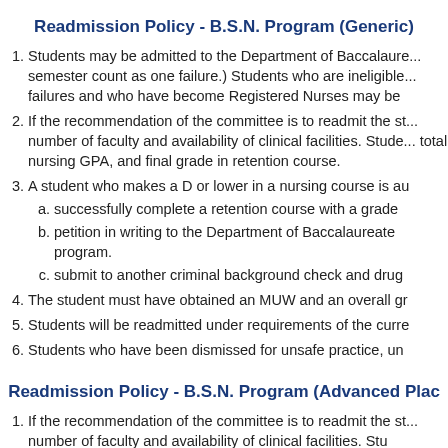Readmission Policy - B.S.N. Program (Generic)
Students may be admitted to the Department of Baccalaure... semester count as one failure.) Students who are ineligible... failures and who have become Registered Nurses may be...
If the recommendation of the committee is to readmit the st... number of faculty and availability of clinical facilities. Stude... total nursing GPA, and final grade in retention course.
A student who makes a D or lower in a nursing course is au...
successfully complete a retention course with a grade...
petition in writing to the Department of Baccalaureate... program.
submit to another criminal background check and drug...
The student must have obtained an MUW and an overall gr...
Students will be readmitted under requirements of the curre...
Students who have been dismissed for unsafe practice, un...
Readmission Policy - B.S.N. Program (Advanced Plac...
If the recommendation of the committee is to readmit the st... number of faculty and availability of clinical facilities. Stu...